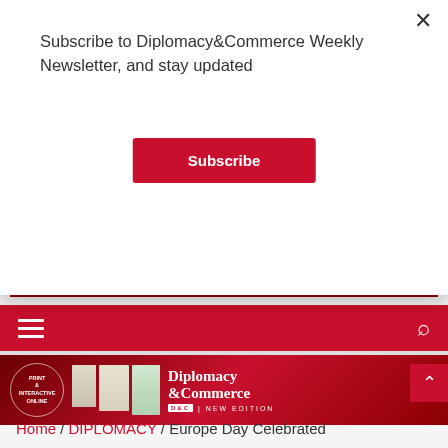Subscribe to Diplomacy&Commerce Weekly Newsletter, and stay updated
Subscribe
[Figure (screenshot): Red promotional banner with text 'SUBSCRIBE NOW!' in white and yellow, magazine icons, and price badge showing 34€ per year]
[Figure (screenshot): Red navigation bar with hamburger menu icon on left and search icon on right]
[Figure (screenshot): Diplomacy & Commerce magazine hero banner on red background with circle showing 'Print & Interactive Online', magazine images, and brand name 'Diplomacy & Commerce | NEW EDITION']
Home / DIPLOMACY / Europe Day Celebrated